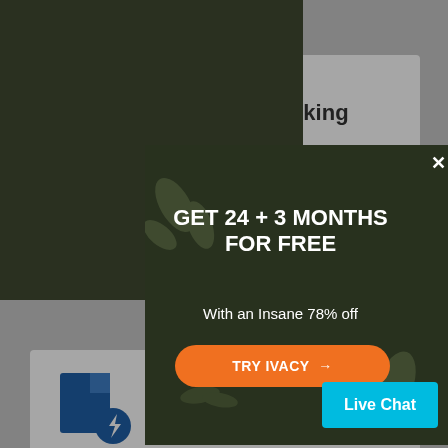[Figure (screenshot): Background page showing Internet Banking and File Sharing sections with icons and text, partially obscured by modal popup]
Internet Banking
Stolen identities and online
[Figure (infographic): Dark themed modal popup with decorative leaf/plant and bird silhouettes in background]
GET 24 + 3 MONTHS FOR FREE
With an Insane 78% off
TRY IVACY →
File Sharing
With a Secure VPN, your data is
Live Chat